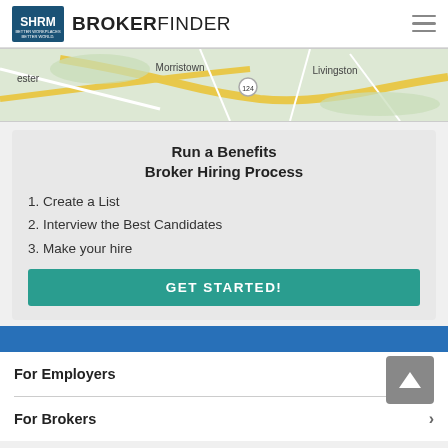SHRM BROKERFINDER
[Figure (map): Partial map showing Morristown, Livingston, and surrounding area with roads including route 124]
Run a Benefits Broker Hiring Process
1. Create a List
2. Interview the Best Candidates
3. Make your hire
GET STARTED!
For Employers
For Brokers